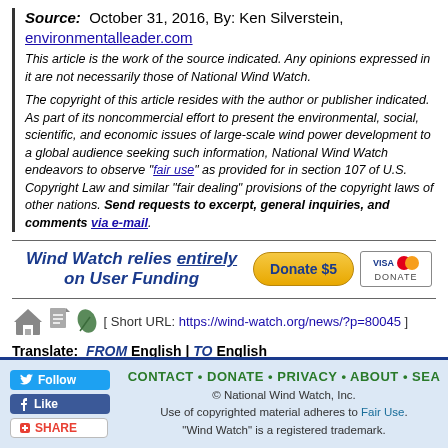Source: October 31, 2016, By: Ken Silverstein, environmentalleader.com
This article is the work of the source indicated. Any opinions expressed in it are not necessarily those of National Wind Watch.
The copyright of this article resides with the author or publisher indicated. As part of its noncommercial effort to present the environmental, social, scientific, and economic issues of large-scale wind power development to a global audience seeking such information, National Wind Watch endeavors to observe "fair use" as provided for in section 107 of U.S. Copyright Law and similar "fair dealing" provisions of the copyright laws of other nations. Send requests to excerpt, general inquiries, and comments via e-mail.
[Figure (infographic): Wind Watch donation banner with text 'Wind Watch relies entirely on User Funding', a Donate $5 button, and Visa/Mastercard logos]
[ Short URL: https://wind-watch.org/news/?p=80045 ]
Translate: FROM English | TO English
« Later Post • News Watch Home • Earlier Post »
CONTACT • DONATE • PRIVACY • ABOUT • SEA... © National Wind Watch, Inc. Use of copyrighted material adheres to Fair Use. "Wind Watch" is a registered trademark.